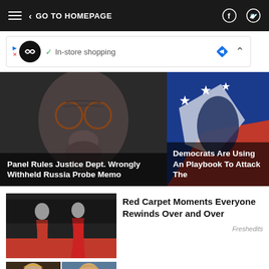GO TO HOMEPAGE
[Figure (screenshot): Advertisement banner: In-store shopping]
[Figure (photo): Close-up of elderly man's face with glasses]
Panel Rules Justice Dept. Wrongly Withheld Russia Probe Memo
[Figure (photo): Democratic party logo with stars on blue and red background]
Democrats Are Using An... Playbook To Attack The...
[Figure (photo): Red carpet moments - women in red dresses]
Red Carpet Moments Everyone Rewinds Over and Over
Freshedits
[Figure (photo): Fabio Lanzoni collage]
Fabio Lanzoni Is 61 &